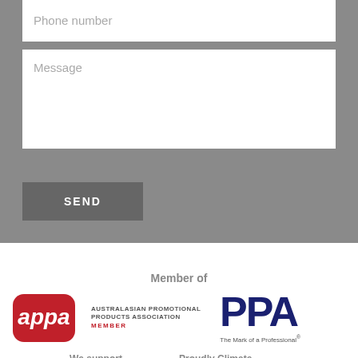Phone number
Message
SEND
Member of
[Figure (logo): APPA - Australasian Promotional Products Association Member logo with red rounded rectangle and white text]
[Figure (logo): PPAI - The Mark of a Professional logo in dark blue bold text]
We support
[Figure (logo): Sporting Chance Foundation logo - circular indigenous art design with orange and red text]
Proudly Climate
[Figure (logo): trace. climate brand logo - leaf/plant icon on light blue/teal background]